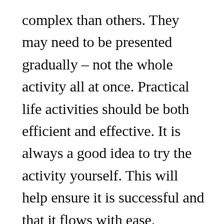complex than others. They may need to be presented gradually – not the whole activity all at once. Practical life activities should be both efficient and effective. It is always a good idea to try the activity yourself. This will help ensure it is successful and that it flows with ease. Additionally, recognize that there are also different stages that a child and teacher will go through with each